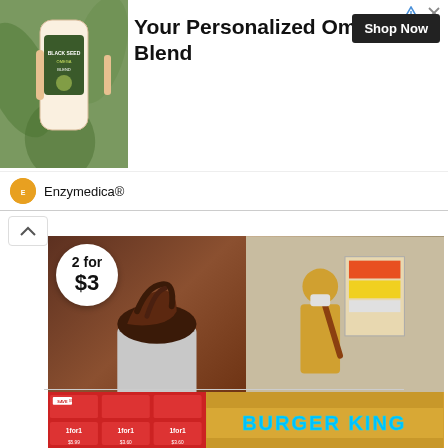[Figure (screenshot): Advertisement banner for Enzymedica personalized omega blend supplement, showing product image on left, bold title text 'Your Personalized Omega Blend', Shop Now button, and Enzymedica brand logo.]
[Figure (photo): Split image: left side shows McDonald's chocolate Hershey's Sundae with '2 for $3' badge and SINGPromos.com watermark; right side shows a person in yellow shirt at a McDonald's counter.]
McDonald's S'pore offering 2 for $3 Hershey's Sundae on weekdays 3 – 5pm till 9 Sep 2022
[Figure (photo): Split image: left side shows Burger King coupons/vouchers with various meal deals (save offers, 1 for 1 deals) priced $5.99, $9.99, $12.99, $5.99, $3.60, $3.60; right side shows illuminated Burger King restaurant sign.]